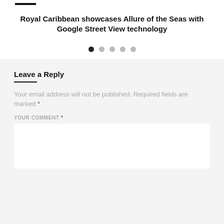Royal Caribbean showcases Allure of the Seas with Google Street View technology
Your email address will not be published. Required fields are marked *
Leave a Reply
YOUR COMMENT *